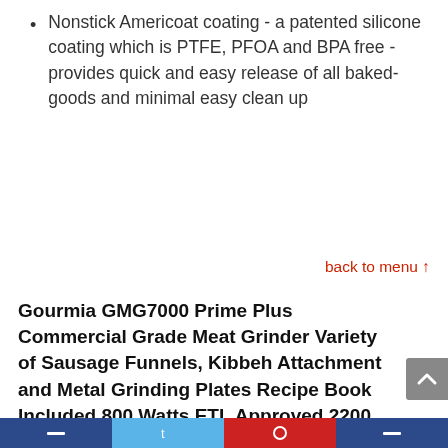Nonstick Americoat coating - a patented silicone coating which is PTFE, PFOA and BPA free - provides quick and easy release of all baked-goods and minimal easy clean up
back to menu ↑
Gourmia GMG7000 Prime Plus Commercial Grade Meat Grinder Variety of Sausage Funnels, Kibbeh Attachment and Metal Grinding Plates Recipe Book Included 800 Watts ETL Approved 2200 Watts Max.